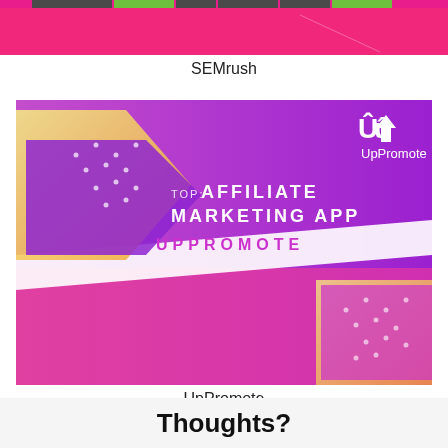[Figure (screenshot): SEMrush banner image with colorful pink, green, dark bar segments at the top]
SEMrush
[Figure (screenshot): UpPromote affiliate marketing app banner with purple and pink gradient background, white arrow shapes with dots, text reading 'TOP: AFFILIATE MARKETING APP' and 'UPPROMOTE', with UP logo in top right]
UpPromote
Thoughts?